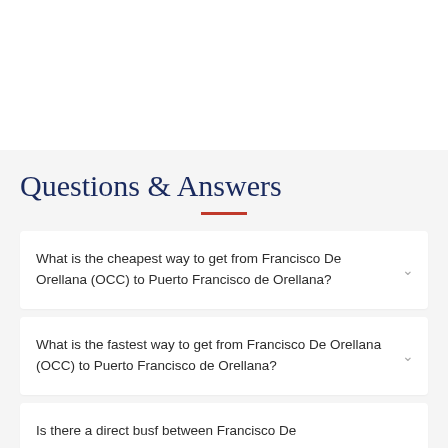Questions & Answers
What is the cheapest way to get from Francisco De Orellana (OCC) to Puerto Francisco de Orellana?
What is the fastest way to get from Francisco De Orellana (OCC) to Puerto Francisco de Orellana?
Is there a direct busf between Francisco De